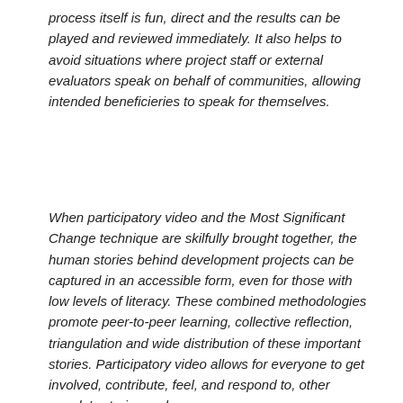process itself is fun, direct and the results can be played and reviewed immediately. It also helps to avoid situations where project staff or external evaluators speak on behalf of communities, allowing intended beneficieries to speak for themselves.
When participatory video and the Most Significant Change technique are skilfully brought together, the human stories behind development projects can be captured in an accessible form, even for those with low levels of literacy. These combined methodologies promote peer-to-peer learning, collective reflection, triangulation and wide distribution of these important stories. Participatory video allows for everyone to get involved, contribute, feel, and respond to, other people's stories and